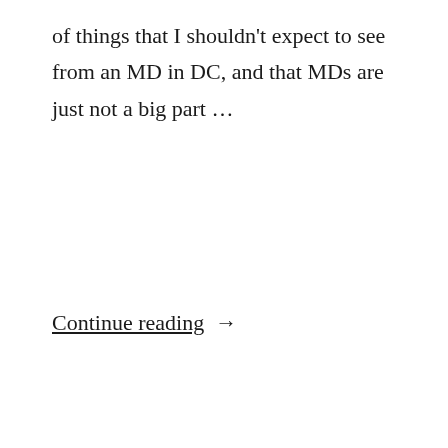of things that I shouldn't expect to see from an MD in DC, and that MDs are just not a big part …
Continue reading →
admin   September 29, 2021   Gastrointestinal   potomac internal medicine